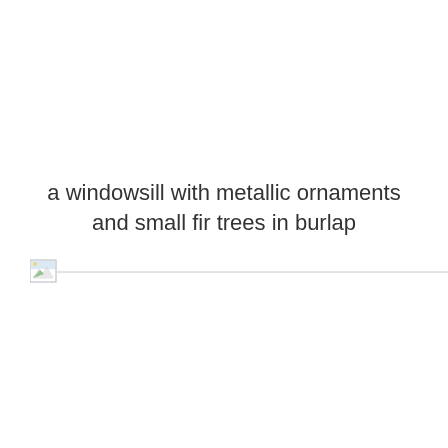a windowsill with metallic ornaments and small fir trees in burlap
[Figure (photo): A broken/missing image placeholder icon with a thin horizontal line extending to the right, indicating a failed image load of a windowsill with metallic ornaments and small fir trees in burlap.]